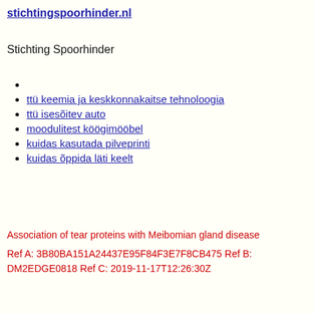stichtingspoorhinder.nl
Stichting Spoorhinder
ttü keemia ja keskkonnakaitse tehnoloogia
ttü isesõitev auto
moodulitest köögimööbel
kuidas kasutada pilveprinti
kuidas õppida läti keelt
Association of tear proteins with Meibomian gland disease
Ref A: 3B80BA151A24437E95F84F3E7F8CB475 Ref B: DM2EDGE0818 Ref C: 2019-11-17T12:26:30Z